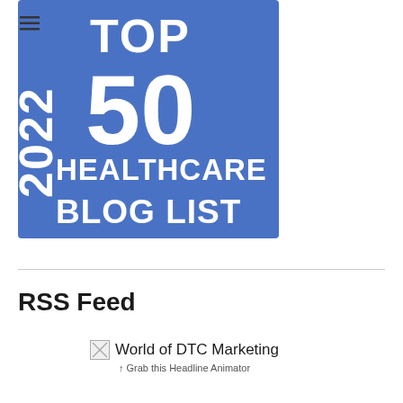[Figure (logo): 2022 Top 50 Healthcare Blog List badge — blue background with large white text reading '2022 TOP 50 HEALTHCARE BLOG LIST']
RSS Feed
[Figure (illustration): Small RSS feed image icon placeholder]
World of DTC Marketing
↑ Grab this Headline Animator